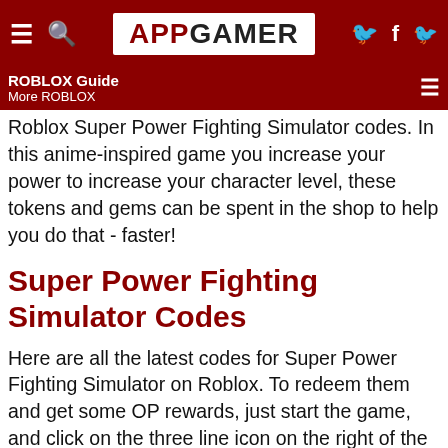APPGAMER navigation bar
ROBLOX Guide | More ROBLOX
Roblox Super Power Fighting Simulator codes. In this anime-inspired game you increase your power to increase your character level, these tokens and gems can be spent in the shop to help you do that - faster!
Super Power Fighting Simulator Codes
Here are all the latest codes for Super Power Fighting Simulator on Roblox. To redeem them and get some OP rewards, just start the game, and click on the three line icon on the right of the screen, then click on codes. This will bring up a new window in which you can copy and